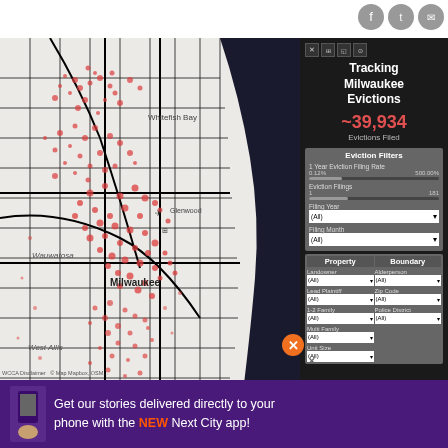[Figure (map): Map of Milwaukee area showing eviction filings as red dots clustered across the city, with street grid in black on light gray background, Lake Michigan visible on the right as dark area. Place names include Whitefish Bay, Wauwatosa, West Allis, Glenwood, Milwaukee.]
Tracking Milwaukee Evictions
~39,934 Evictions Filed
Eviction Filters
1 Year Eviction Filing Rate 0.12% — 500.00%
Eviction Filings 1 — 181
Filing Year (All)
Filing Month (All)
Property | Boundary
Landowner (All)
Alderperson (All)
Lead Plaintiff (All)
Zip Code (All)
1-2 Family (All)
Police District (All)
Multi Family (All)
Unit Size (All)
WCCA Disclaimer © Map Mapbox, OSM...
Get our stories delivered directly to your phone with the NEW Next City app!